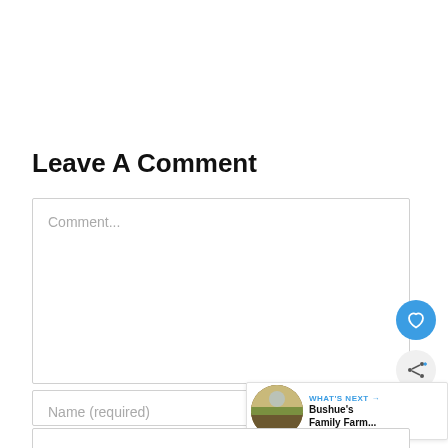Leave A Comment
Comment...
Name (required)
[Figure (other): Blue circular heart/like button icon]
[Figure (other): Gray circular share button icon]
Email (required)
[Figure (other): WHAT'S NEXT panel with thumbnail of a farm field and text: Bushue's Family Farm...]
Website